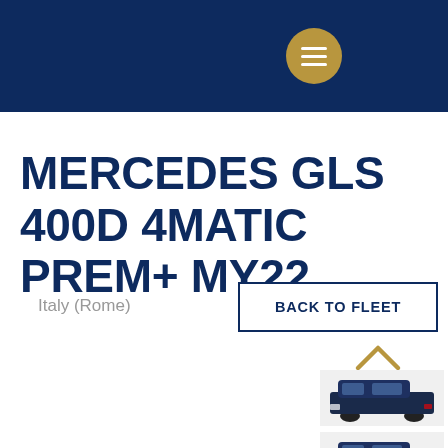MERCEDES GLS 400D 4MATIC PREM+ MY22
Italy (Rome)
BACK TO FLEET
[Figure (illustration): Menu hamburger icon button (gold circle with three white horizontal lines)]
[Figure (photo): Thumbnail of dark Mercedes GLS SUV, side-front view]
[Figure (photo): Thumbnail of dark Mercedes GLS SUV, side view]